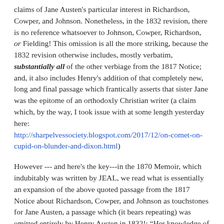claims of Jane Austen's particular interest in Richardson, Cowper, and Johnson. Nonetheless, in the 1832 revision, there is no reference whatsoever to Johnson, Cowper, Richardson, or Fielding! This omission is all the more striking, because the 1832 revision otherwise includes, mostly verbatim, substantially all of the other verbiage from the 1817 Notice; and, it also includes Henry's addition of that completely new, long and final passage which frantically asserts that sister Jane was the epitome of an orthodoxly Christian writer (a claim which, by the way, I took issue with at some length yesterday here: http://sharpelvessociety.blogspot.com/2017/12/on-comet-on-cupid-on-blunder-and-dixon.html)
However --- and here's the key---in the 1870 Memoir, which indubitably was written by JEAL, we read what is essentially an expansion of the above quoted passage from the 1817 Notice about Richardson, Cowper, and Johnson as touchstones for Jane Austen, a passage which (it bears repeating) was omitted entirely by Henry Austen in 1832!: “Her knowledge of Richardson's works was such as no one is likely again to acquire, now that the multitude and the merits of our light literature have called off the attention of readers from that great master. Every circumstance narrated in Sir Charles